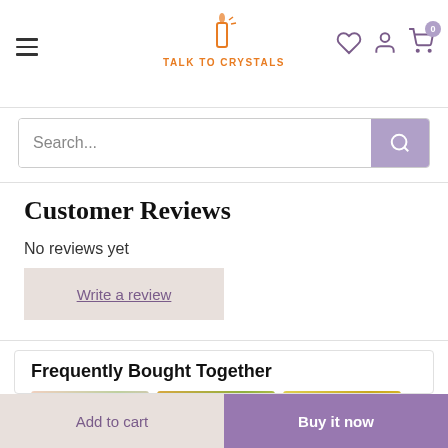Talk to Crystals — navigation header with hamburger menu, logo, heart icon, account icon, cart icon (0)
Search...
Customer Reviews
No reviews yet
Write a review
Frequently Bought Together
[Figure (photo): Three product thumbnail images side by side in the Frequently Bought Together section]
Add to cart
Buy it now